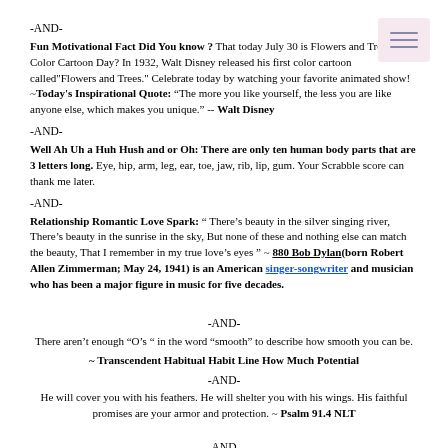-AND-
Fun Motivational Fact Did You know ? That today July 30 is Flowers and Trees Color Cartoon Day? In 1932, Walt Disney released his first color cartoon called"Flowers and Trees." Celebrate today by watching your favorite animated show! ~Today's Inspirational Quote: "The more you like yourself, the less you are like anyone else, which makes you unique." -- Walt Disney
-AND-
Well Ah Uh a Huh Hush and or Oh: There are only ten human body parts that are 3 letters long. Eye, hip, arm, leg, ear, toe, jaw, rib, lip, gum. Your Scrabble score can thank me later.
-AND-
Relationship Romantic Love Spark: “ There's beauty in the silver singing river, There's beauty in the sunrise in the sky, But none of these and nothing else can match the beauty, That I remember in my true love's eyes ” ~ 880 Bob Dylan(born Robert Allen Zimmerman; May 24, 1941) is an American singer-songwriter and musician who has been a major figure in music for five decades.
-AND-
There aren’t enough “O’s “ in the word “smooth” to describe how smooth you can be.
~ Transcendent Habitual Habit Line How Much Potential
-AND-
He will cover you with his feathers. He will shelter you with his wings. His faithful promises are your armor and protection. ~ Psalm 91.4 NLT
-AND-
Music Selection to listen to George Michael — “You gotta to have faith”